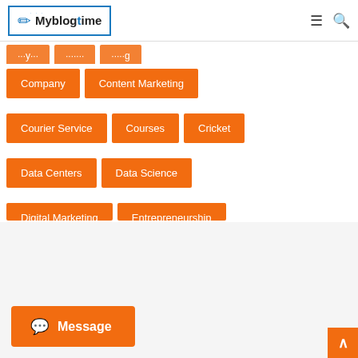Myblogtime
Company
Content Marketing
Courier Service
Courses
Cricket
Data Centers
Data Science
Digital Marketing
Entrepreneurship
Message